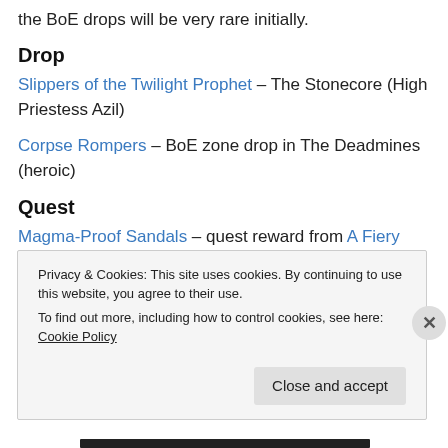the BoE drops will be very rare initially.
Drop
Slippers of the Twilight Prophet – The Stonecore (High Priestess Azil)
Corpse Rompers – BoE zone drop in The Deadmines (heroic)
Quest
Magma-Proof Sandals – quest reward from A Fiery Reunion, Twilight Highlands
Privacy & Cookies: This site uses cookies. By continuing to use this website, you agree to their use.
To find out more, including how to control cookies, see here: Cookie Policy